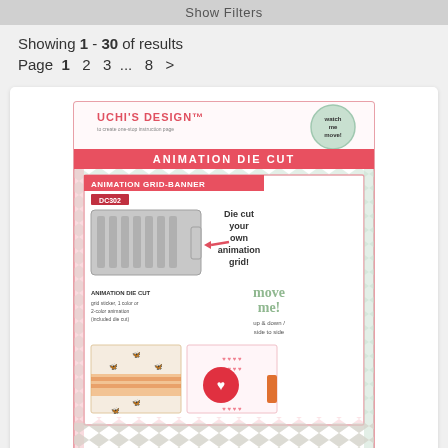Show Filters
Showing 1 - 30 of results
Page 1 2 3 ... 8 >
[Figure (photo): Product image of Uchi's Animation Die Cut - Animation Grid product packaging, showing the die cut tool, animation grid banner, and example cards with butterfly and heart animations]
PRODUCT SOLD OUT
Uchi's Animation Die - Animation Grid 1.6X2.7